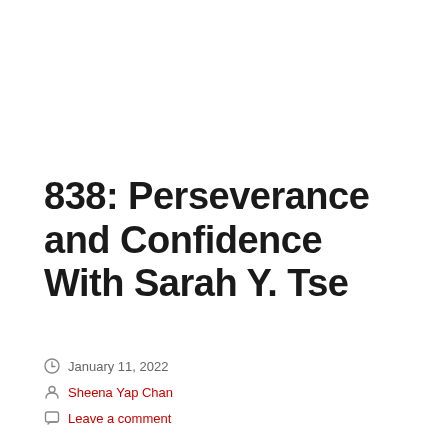838: Perseverance and Confidence With Sarah Y. Tse
January 11, 2022
Sheena Yap Chan
Leave a comment